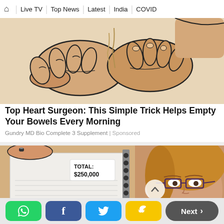🏠 | Live TV | Top News | Latest | India | COVID
[Figure (illustration): Medical illustration of hands showing a procedure or technique, drawn in a cartoon/sketch style with beige/tan skin tones and black linework]
Top Heart Surgeon: This Simple Trick Helps Empty Your Bowels Every Morning
Gundry MD Bio Complete 3 Supplement | Sponsored
[Figure (photo): Person holding a spiral-bound document showing TOTAL: $250,000, with a woman wearing glasses visible on the right side of the image]
WhatsApp | Facebook | Twitter | Snapchat | Next >